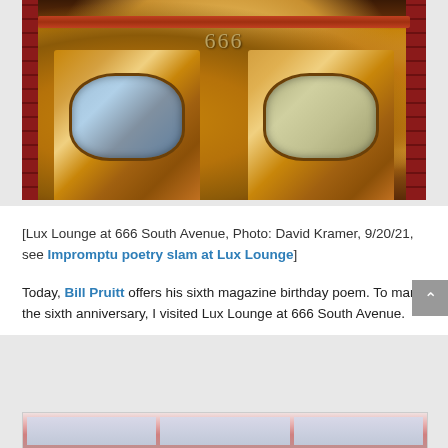[Figure (photo): Photo of Lux Lounge entrance at 666 South Avenue showing two wooden doors with rounded windows and red brick surroundings, with the number 666 above the doors]
[Lux Lounge at 666 South Avenue, Photo: David Kramer, 9/20/21, see Impromptu poetry slam at Lux Lounge]
Today, Bill Pruitt offers his sixth magazine birthday poem. To mark the sixth anniversary, I visited Lux Lounge at 666 South Avenue.
[Figure (photo): Partial photo visible at bottom of page, appears to be another image of Lux Lounge]